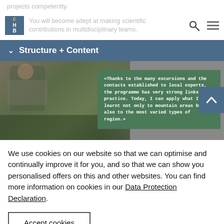projects competently.
You will become adept at making scientific contributions in multidisciplinary teams.
FHB logo and navigation bar
Structure + Content
[Figure (photo): Person working outdoors in a natural/ecological setting with a testimonial quote overlay in green box: «Thanks to the many excursions and the contacts established to local experts, the programme has very strong links to practice. Today, I can apply what I learnt not only to mountain areas but also to the most varied types of region.»]
We use cookies on our website so that we can optimise and continually improve it for you, and so that we can show you personalised offers on this and other websites. You can find more information on cookies in our Data Protection Declaration.
Accept cookies